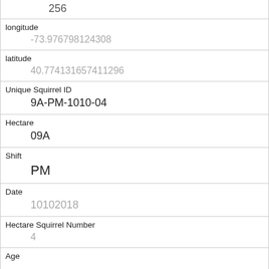| 256 |
| longitude | -73.976798124308 |
| latitude | 40.774131657411296 |
| Unique Squirrel ID | 9A-PM-1010-04 |
| Hectare | 09A |
| Shift | PM |
| Date | 10102018 |
| Hectare Squirrel Number | 4 |
| Age |  |
| Primary Fur Color | Cinnamon |
| Highlight Fur Color |  |